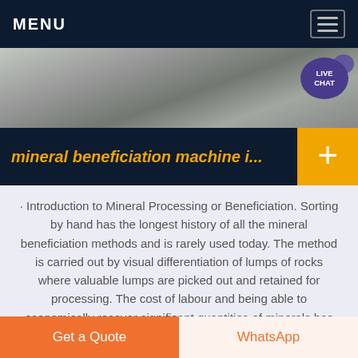MENU
[Figure (photo): Aerial or close-up photo of mineral/rock aggregate material, grayscale tones, outdoor mining scene]
mineral beneficiation machine i...
· Introduction to Mineral Processing or Beneficiation. Sorting by hand has the longest history of all the mineral beneficiation methods and is rarely used today. The method is carried out by visual differentiation of lumps of rocks where valuable lumps are picked out and retained for processing. The cost of labour and being able to economically recover significant quantities of minerals has
Get a Quote | WhatsApp